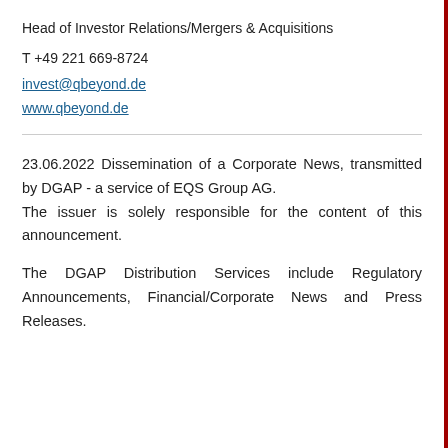Head of Investor Relations/Mergers & Acquisitions
T +49 221 669-8724
invest@qbeyond.de
www.qbeyond.de
23.06.2022 Dissemination of a Corporate News, transmitted by DGAP - a service of EQS Group AG.
The issuer is solely responsible for the content of this announcement.
The DGAP Distribution Services include Regulatory Announcements, Financial/Corporate News and Press Releases.